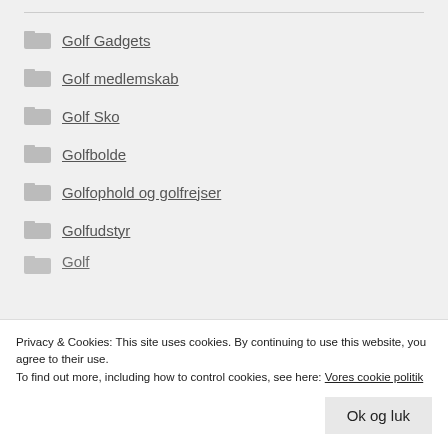Golf Gadgets
Golf medlemskab
Golf Sko
Golfbolde
Golfophold og golfrejser
Golfudstyr
Golf
Privacy & Cookies: This site uses cookies. By continuing to use this website, you agree to their use. To find out more, including how to control cookies, see here: Vores cookie politik
Ok og luk